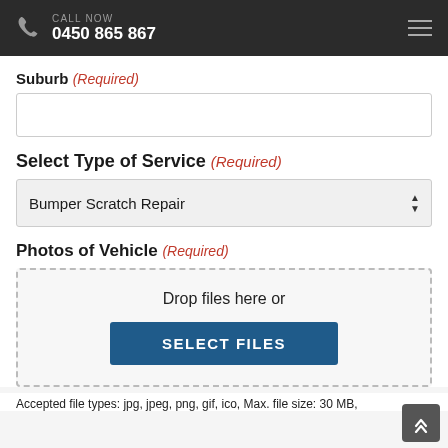CALL NOW 0450 865 867
Suburb (Required)
Select Type of Service (Required)
Bumper Scratch Repair
Photos of Vehicle (Required)
Drop files here or
SELECT FILES
Accepted file types: jpg, jpeg, png, gif, ico, Max. file size: 30 MB,